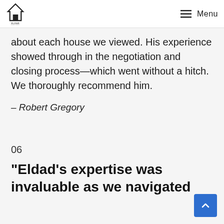ELDAD MOSARE | Menu
about each house we viewed. His experience showed through in the negotiation and closing process—which went without a hitch. We thoroughly recommend him.
– Robert Gregory
06
“Eldad’s expertise was invaluable as we navigated